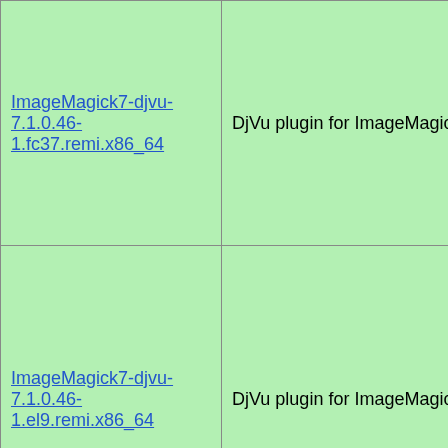| ImageMagick7-djvu-7.1.0.46-1.fc37.remi.x86_64 | DjVu plugin for ImageMagick | Remi's RPM for Fedora 37 for x86_64 |
| ImageMagick7-djvu-7.1.0.46-1.el9.remi.x86_64 | DjVu plugin for ImageMagick | Remi's RPM for RedHat EL 9 for x86_64 |
| ImageMagick7-djvu-7.1.0.46-1.el9.remi.aarch64 | DjVu plugin for ImageMagick | Remi's RPM for RedHat EL 9 for aarch64 |
| ImageMagick7-djvu-7.1.0.46-1.el7.remi.x86_64 | DjVu plugin for ImageMagick | Remi's RPM for RedHat EL 7... |